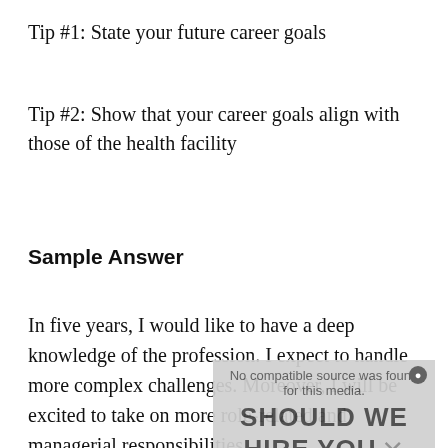Tip #1: State your future career goals
Tip #2: Show that your career goals align with those of the health facility
Sample Answer
In five years, I would like to have a deep knowledge of the profession. I expect to handle more complex challenges. Moreover, I will be excited to take on more role-related and managerial responsibilities.
[Figure (other): Advertisement overlay showing video player with text 'No compatible source was found for this media.' and promotional text 'SHOULD WE HIRE YOU?' with '5 Best Answers' and an X close button]